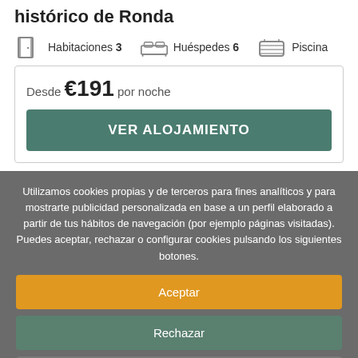histórico de Ronda
Habitaciones 3   Huéspedes 6   Piscina
Desde €191 por noche
VER ALOJAMIENTO
Utilizamos cookies propias y de terceros para fines analíticos y para mostrarte publicidad personalizada en base a un perfil elaborado a partir de tus hábitos de navegación (por ejemplo páginas visitadas). Puedes aceptar, rechazar o configurar cookies pulsando los siguientes botones.
Aceptar
Rechazar
Configurar
Mas informacion